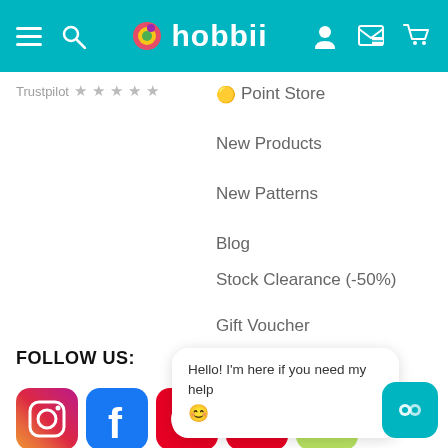hobbii
Trustpilot ★★★★★
🟡 Point Store
New Products
New Patterns
Blog
Stock Clearance (-50%)
Gift Voucher
FOLLOW US:
[Figure (logo): Social media icons: Instagram, Facebook, Pinterest, YouTube, and another app icon]
Hello! I'm here if you need my help 😊